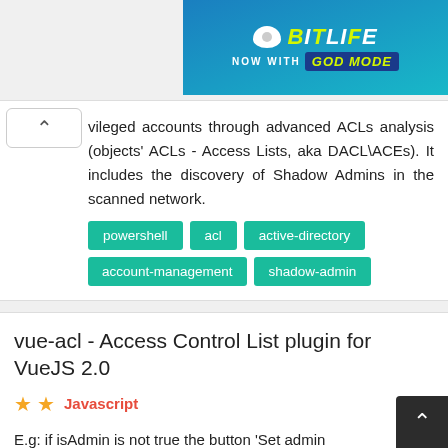[Figure (screenshot): BitLife advertisement banner with 'NOW WITH GOD MODE' text on teal/blue gradient background]
vileged accounts through advanced ACLs analysis (objects' ACLs - Access Lists, aka DACL\ACEs). It includes the discovery of Shadow Admins in the scanned network.
powershell
acl
active-directory
account-management
shadow-admin
vue-acl - Access Control List plugin for VueJS 2.0
★ ★  Javascript
E.g: if isAdmin is not true the button 'Set admin permisson' is displayed.